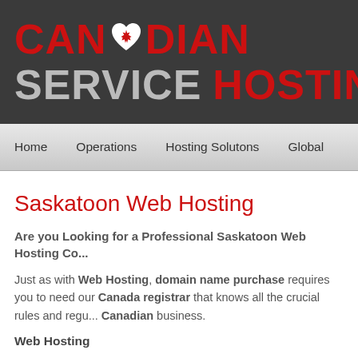[Figure (logo): Canadian Service Hosting logo with maple leaf heart replacing the O in CANADIAN, red and gray text on dark background]
Home   Operations   Hosting Solutons   Global
Saskatoon Web Hosting
Are you Looking for a Professional Saskatoon Web Hosting Co...
Just as with Web Hosting, domain name purchase requires you to need our Canada registrar that knows all the crucial rules and regu... Canadian business.
Web Hosting
With an amateur server, you can save by receiving cheap website...